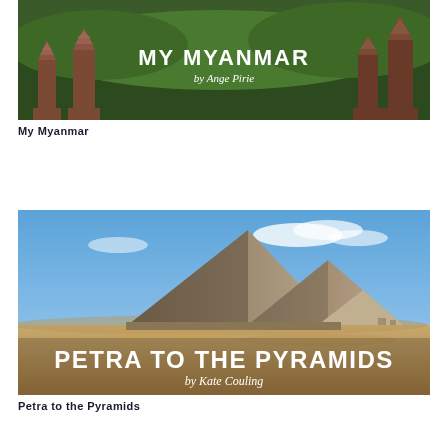[Figure (photo): Book cover for 'My Myanmar' by Ange Pirie showing ancient pagodas and temples among lush green trees, with bold white title text and italic subtitle.]
My Myanmar
[Figure (photo): Book cover for 'Petra to the Pyramids' by Kate Couling showing the Great Pyramids of Giza under a blue sky with sandy desert foreground, with bold white title text and italic subtitle.]
Petra to the Pyramids